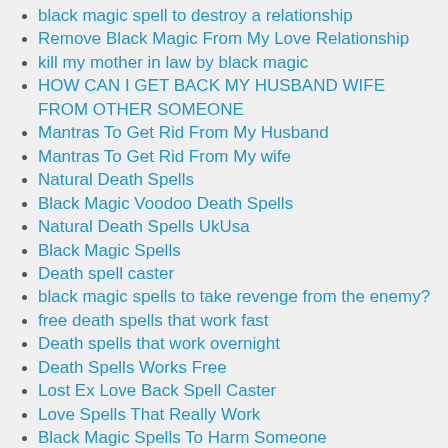black magic spell to destroy a relationship
Remove Black Magic From My Love Relationship
kill my mother in law by black magic
HOW CAN I GET BACK MY HUSBAND WIFE FROM OTHER SOMEONE
Mantras To Get Rid From My Husband
Mantras To Get Rid From My wife
Natural Death Spells
Black Magic Voodoo Death Spells
Natural Death Spells UkUsa
Black Magic Spells
Death spell caster
black magic spells to take revenge from the enemy?
free death spells that work fast
Death spells that work overnight
Death Spells Works Free
Lost Ex Love Back Spell Caster
Love Spells That Really Work
Black Magic Spells To Harm Someone
Instant Death Spells
Black magic to kill mother in law naturally
Mantra to kill my mother in law
How to Kill My Mother in Law